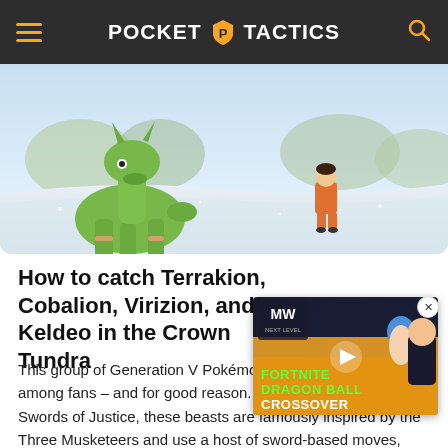POCKET TACTICS
[Figure (screenshot): Game screenshot showing Virizion (green legendary Pokemon) on a snowy tundra landscape with a trainer character in orange outfit in background]
How to catch Terrakion, Cobalion, Virizion, and Keldeo in the Crown Tundra
[Figure (screenshot): Advertisement overlay showing Fortnite Dragon Ball Crossover with anime characters including Bulma and Vegeta]
This group of Generation V Pokémon are firm favourites among fans – and for good reason. Known collectively as the Swords of Justice, these beasts are famously inspired by the Three Musketeers and use a host of sword-based moves, making them fearsome foes or strong allies.